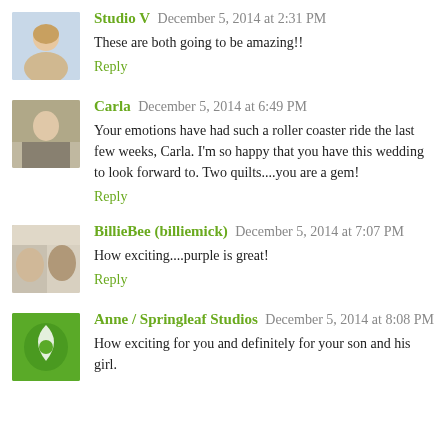Studio V  December 5, 2014 at 2:31 PM
These are both going to be amazing!!
Reply
Carla  December 5, 2014 at 6:49 PM
Your emotions have had such a roller coaster ride the last few weeks, Carla. I'm so happy that you have this wedding to look forward to. Two quilts....you are a gem!
Reply
BillieBee (billiemick)  December 5, 2014 at 7:07 PM
How exciting....purple is great!
Reply
Anne / Springleaf Studios  December 5, 2014 at 8:08 PM
How exciting for you and definitely for your son and his girl.